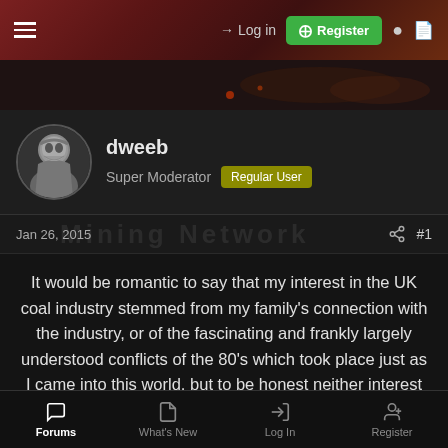Log in | Register
[Figure (screenshot): Forum website banner/header background image]
dweeb
Super Moderator  Regular User
Jan 26, 2015  #1
It would be romantic to say that my interest in the UK coal industry stemmed from my family's connection with the industry, or of the fascinating and frankly largely understood conflicts of the 80's which took place just as I came into this world, but to be honest neither interest me as much as the engineering behind winning earth treasures from below the ground...
It seems a good time to reflect on what I have seen over the past
Forums  What's New  Log In  Register